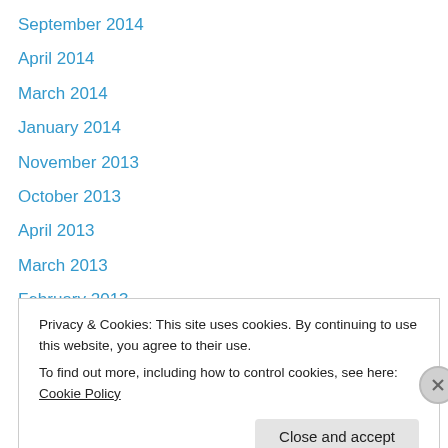September 2014
April 2014
March 2014
January 2014
November 2013
October 2013
April 2013
March 2013
February 2013
January 2013
December 2012
November 2012
September 2012
Privacy & Cookies: This site uses cookies. By continuing to use this website, you agree to their use.
To find out more, including how to control cookies, see here: Cookie Policy
Close and accept